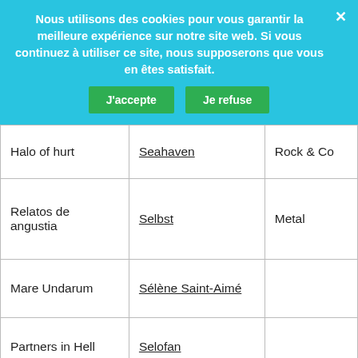Nous utilisons des cookies pour vous garantir la meilleure expérience sur notre site web. Si vous continuez à utiliser ce site, nous supposerons que vous en êtes satisfait.
|  |  |  |
| --- | --- | --- |
| Halo of hurt | Seahaven | Rock & Co |
| Relatos de angustia | Selbst | Metal |
| Mare Undarum | Sélène Saint-Aimé |  |
| Partners in Hell | Selofan |  |
| So quiet | Serena Fisseau-Vincent Peirani | Jazz |
| Enregistrement public au Théâtr... | Serge Gainsbourg... | Chanson... |